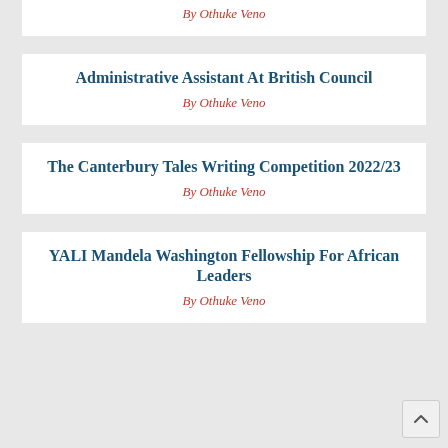By Othuke Veno
Administrative Assistant At British Council
By Othuke Veno
The Canterbury Tales Writing Competition 2022/23
By Othuke Veno
YALI Mandela Washington Fellowship For African Leaders
By Othuke Veno